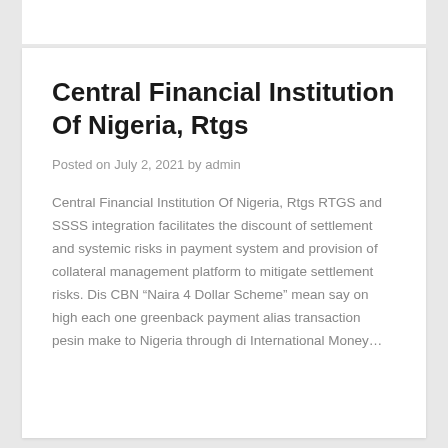Central Financial Institution Of Nigeria, Rtgs
Posted on July 2, 2021 by admin
Central Financial Institution Of Nigeria, Rtgs RTGS and SSSS integration facilitates the discount of settlement and systemic risks in payment system and provision of collateral management platform to mitigate settlement risks. Dis CBN “Naira 4 Dollar Scheme” mean say on high each one greenback payment alias transaction pesin make to Nigeria through di International Money…